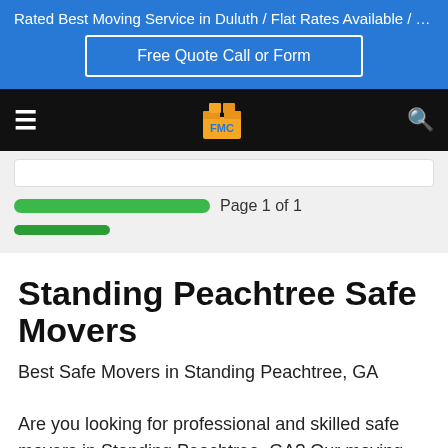Rated Best Moving Service in Duluth / Flat Rates Available / F...
Free Quote Call or Form
[Figure (logo): FMC moving company logo with boxes on black navigation bar]
Page 1 of 1
Standing Peachtree Safe Movers
Best Safe Movers in Standing Peachtree, GA
Are you looking for professional and skilled safe movers in Standing Peachtree, GA? Our moving